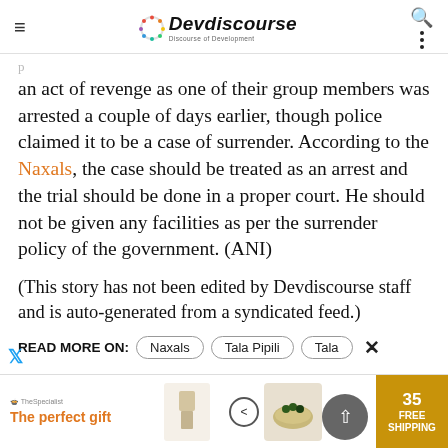Devdiscourse — Discourse of Development
an act of revenge as one of their group members was arrested a couple of days earlier, though police claimed it to be a case of surrender. According to the Naxals, the case should be treated as an arrest and the trial should be done in a proper court. He should not be given any facilities as per the surrender policy of the government. (ANI)
(This story has not been edited by Devdiscourse staff and is auto-generated from a syndicated feed.)
READ MORE ON: Naxals  Tala Pipili  Tala